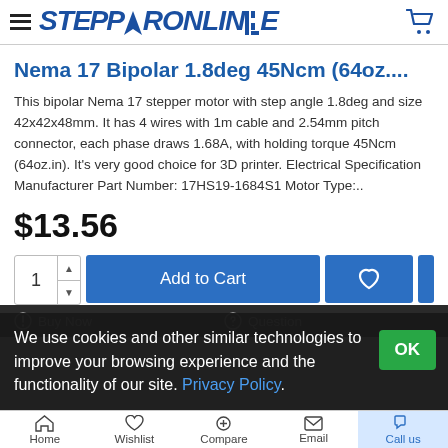STEPPERONLINE
Nema 17 Bipolar 1.8deg 45Ncm (64oz....
This bipolar Nema 17 stepper motor with step angle 1.8deg and size 42x42x48mm. It has 4 wires with 1m cable and 2.54mm pitch connector, each phase draws 1.68A, with holding torque 45Ncm (64oz.in). It's very good choice for 3D printer. Electrical Specification Manufacturer Part Number: 17HS19-1684S1 Motor Type:..
$13.56
We use cookies and other similar technologies to improve your browsing experience and the functionality of our site. Privacy Policy.
Home  Wishlist  Compare  Email  Call us